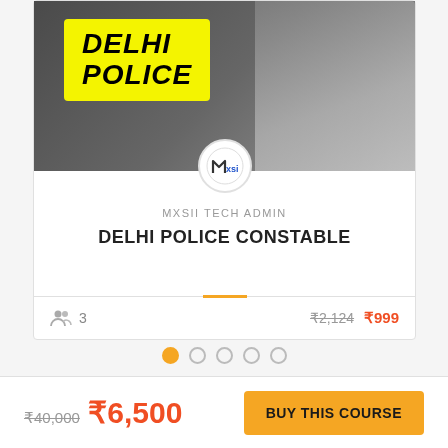[Figure (screenshot): Delhi Police course card with yellow badge showing DELHI POLICE text, admin logo, course title, student count and pricing]
MXSII TECH ADMIN
DELHI POLICE CONSTABLE
3
₹2,124 ₹999
₹40,000 ₹6,500
BUY THIS COURSE